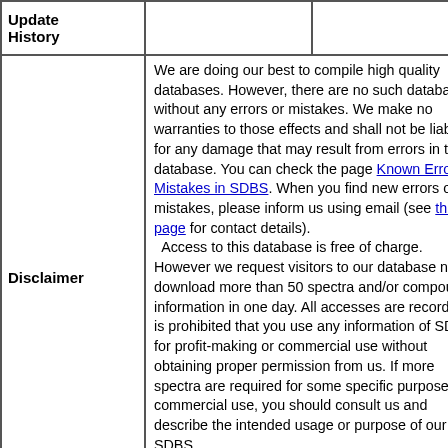| Update History |  |  |
| --- | --- | --- |
| Disclaimer | We are doing our best to compile high quality databases. However, there are no such databases without any errors or mistakes. We make no warranties to those effects and shall not be liable for any damage that may result from errors in the database. You can check the page Known Errors of Mistakes in SDBS. When you find new errors or mistakes, please inform us using email (see this page for contact details).
  Access to this database is free of charge. However we request visitors to our database not to download more than 50 spectra and/or compound information in one day. All accesses are recorded. It is prohibited that you use any information of SDBS for profit-making or commercial use without obtaining proper permission from us. If more spectra are required for some specific purpose or commercial use, you should consult us and describe the intended usage or purpose of our SDBS.
We also request that when you use the data of our SDBS in your publication or |  |  |